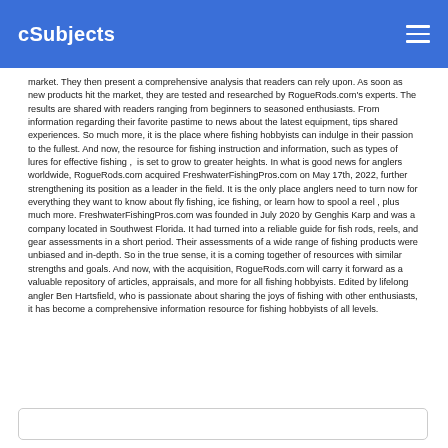cSubjects
market. They then present a comprehensive analysis that readers can rely upon. As soon as new products hit the market, they are tested and researched by RogueRods.com's experts. The results are shared with readers ranging from beginners to seasoned enthusiasts. From information regarding their favorite pastime to news about the latest equipment, tips shared experiences. So much more, it is the place where fishing hobbyists can indulge in their passion to the fullest. And now, the resource for fishing instruction and information, such as types of lures for effective fishing ,  is set to grow to greater heights. In what is good news for anglers worldwide, RogueRods.com acquired FreshwaterFishingPros.com on May 17th, 2022, further strengthening its position as a leader in the field. It is the only place anglers need to turn now for everything they want to know about fly fishing, ice fishing, or learn how to spool a reel , plus much more. FreshwaterFishingPros.com was founded in July 2020 by Genghis Karp and was a company located in Southwest Florida. It had turned into a reliable guide for fish rods, reels, and gear assessments in a short period. Their assessments of a wide range of fishing products were unbiased and in-depth. So in the true sense, it is a coming together of resources with similar strengths and goals. And now, with the acquisition, RogueRods.com will carry it forward as a valuable repository of articles, appraisals, and more for all fishing hobbyists. Edited by lifelong angler Ben Hartsfield, who is passionate about sharing the joys of fishing with other enthusiasts, it has become a comprehensive information resource for fishing hobbyists of all levels.